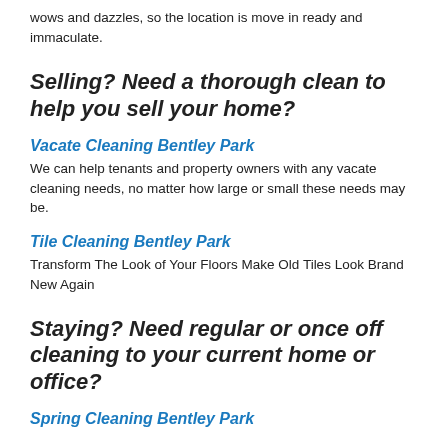wows and dazzles, so the location is move in ready and immaculate.
Selling? Need a thorough clean to help you sell your home?
Vacate Cleaning Bentley Park
We can help tenants and property owners with any vacate cleaning needs, no matter how large or small these needs may be.
Tile Cleaning Bentley Park
Transform The Look of Your Floors Make Old Tiles Look Brand New Again
Staying? Need regular or once off cleaning to your current home or office?
Spring Cleaning Bentley Park